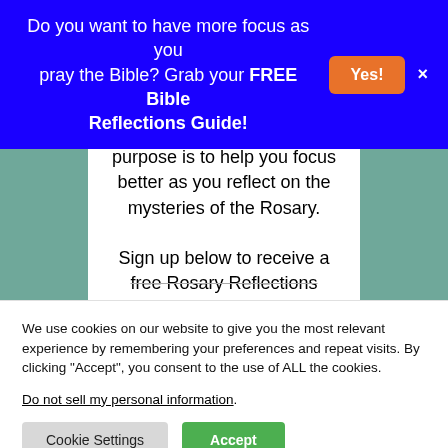Do you want to have more focus as you pray the Bible? Grab your FREE Bible Reflections Guide! Yes! ×
Rosary Reflection Guide's purpose is to help you focus better as you reflect on the mysteries of the Rosary.

Sign up below to receive a free Rosary Reflections
We use cookies on our website to give you the most relevant experience by remembering your preferences and repeat visits. By clicking "Accept", you consent to the use of ALL the cookies.
Do not sell my personal information.
Cookie Settings  Accept